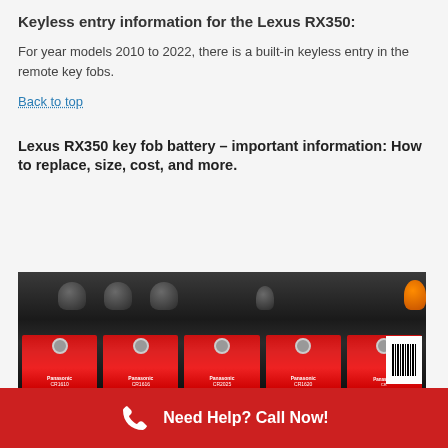Keyless entry information for the Lexus RX350:
For year models 2010 to 2022, there is a built-in keyless entry in the remote key fobs.
Back to top
Lexus RX350 key fob battery – important information: How to replace, size, cost, and more.
[Figure (photo): Several Panasonic coin cell battery packages (CR1610, CR1616, CR2025, CR1620) displayed on a dark surface with tools in the background]
Need Help? Call Now!